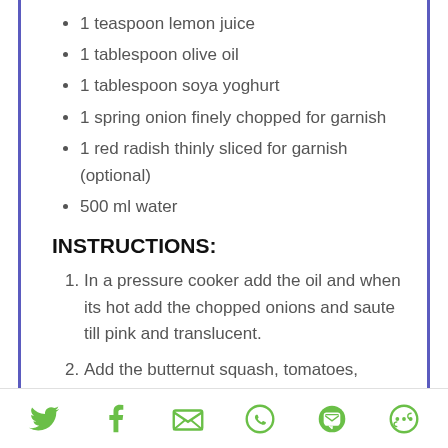1 teaspoon lemon juice
1 tablespoon olive oil
1 tablespoon soya yoghurt
1 spring onion finely chopped for garnish
1 red radish thinly sliced for garnish (optional)
500 ml water
INSTRUCTIONS:
In a pressure cooker add the oil and when its hot add the chopped onions and saute till pink and translucent.
Add the butternut squash, tomatoes, ginger, chilli and 500 ml of water to the pressure cooker
Social sharing icons: Twitter, Facebook, Email, WhatsApp, SMS, More